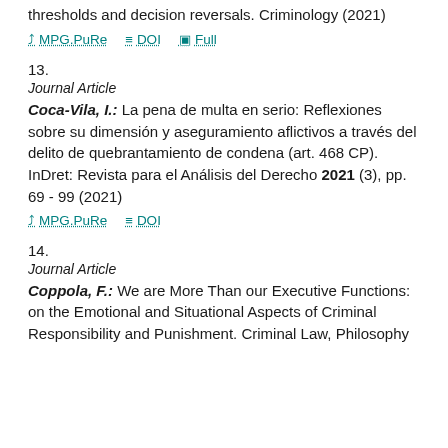thresholds and decision reversals. Criminology (2021)
MPG.PuRe   DOI   Full
13.
Journal Article
Coca-Vila, I.: La pena de multa en serio: Reflexiones sobre su dimensión y aseguramiento aflictivos a través del delito de quebrantamiento de condena (art. 468 CP). InDret: Revista para el Análisis del Derecho 2021 (3), pp. 69 - 99 (2021)
MPG.PuRe   DOI
14.
Journal Article
Coppola, F.: We are More Than our Executive Functions: on the Emotional and Situational Aspects of Criminal Responsibility and Punishment. Criminal Law, Philosophy